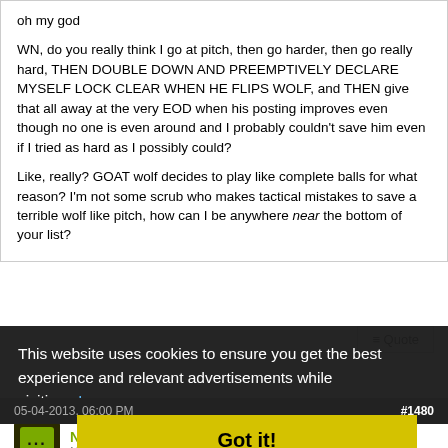oh my god
WN, do you really think I go at pitch, then go harder, then go really hard, THEN DOUBLE DOWN AND PREEMPTIVELY DECLARE MYSELF LOCK CLEAR WHEN HE FLIPS WOLF, and THEN give that all away at the very EOD when his posting improves even though no one is even around and I probably couldn't save him even if I tried as hard as I possibly could?
Like, really? GOAT wolf decides to play like complete balls for what reason? I'm not some scrub who makes tactical mistakes to save a terrible wolf like pitch, how can I be anywhere near the bottom of your list?
This website uses cookies to ensure you get the best experience and relevant advertisements while visiting. Learn more
05-04-2013, 06:00 PM   #1480
Noah
Ninja
Got it!
Votes from post 1083 to post 1479